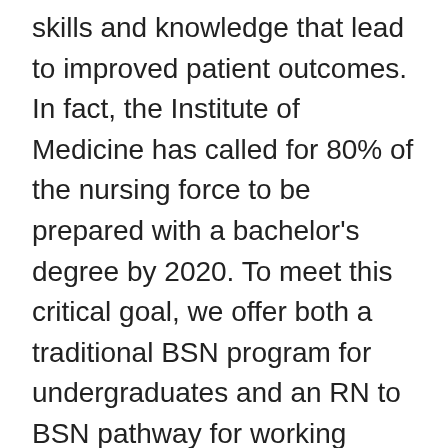skills and knowledge that lead to improved patient outcomes. In fact, the Institute of Medicine has called for 80% of the nursing force to be prepared with a bachelor's degree by 2020. To meet this critical goal, we offer both a traditional BSN program for undergraduates and an RN to BSN pathway for working nurses. Both programs are nationally recognized for excellence, with our students posting a stellar 94% NCLEX first-time pass rate.
Nurses with a BSN are positioned to take advantage of the many opportunities in